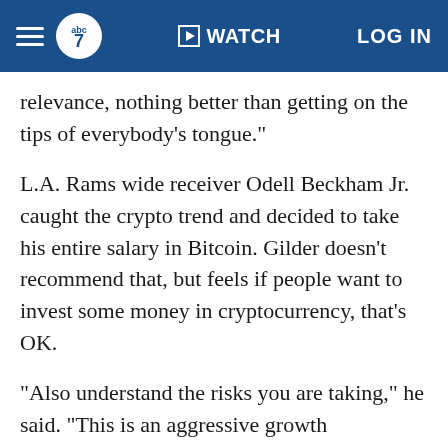ABC7 | WATCH | LOG IN
relevance, nothing better than getting on the tips of everybody's tongue."
L.A. Rams wide receiver Odell Beckham Jr. caught the crypto trend and decided to take his entire salary in Bitcoin. Gilder doesn't recommend that, but feels if people want to invest some money in cryptocurrency, that's OK.
"Also understand the risks you are taking," he said. "This is an aggressive growth investment, and as long as you understand that, and you can sleep at night, then it's OK to have a small portion of your portfolio in it."